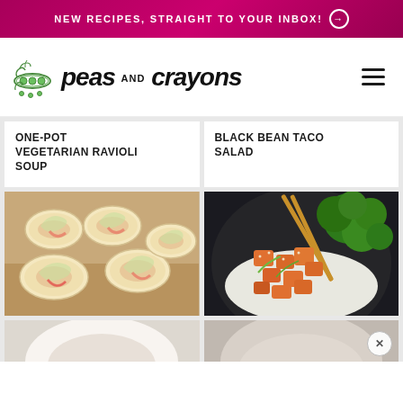NEW RECIPES, STRAIGHT TO YOUR INBOX! →
[Figure (logo): Peas and Crayons food blog logo with hand-lettered script text and illustrated pea pods]
ONE-POT VEGETARIAN RAVIOLI SOUP
BLACK BEAN TACO SALAD
[Figure (photo): Pinwheel roll-up sandwiches sliced and arranged on a wooden cutting board]
[Figure (photo): General Tso tofu with broccoli and rice in a dark bowl, with chopsticks]
[Figure (photo): Partial bottom snippet of a dish, cut off]
[Figure (photo): Partial bottom snippet of a dish on a plate, cut off]